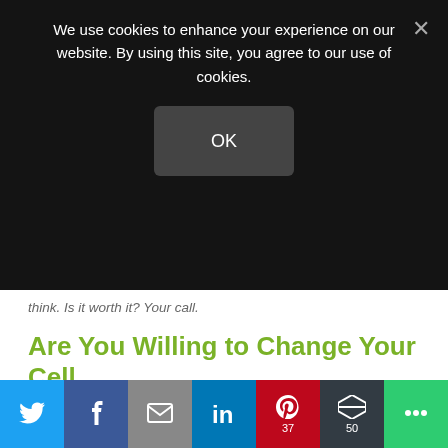We use cookies to enhance your experience on our website. By using this site, you agree to our use of cookies.
OK
think. Is it worth it? Your call.
Are You Willing to Change Your Cell Phone Habits?
Please leave a comment and tell us what you think or share it with someone who can benefit from the information.
Additional Reading:
Is Your Friend Really An Acquaintance?